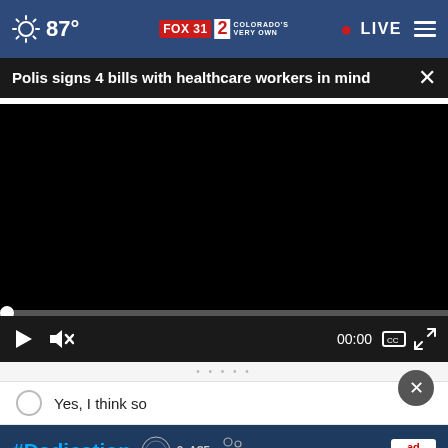87° FOX 31 2 COLORADO'S VERY OWN • LIVE
Polis signs 4 bills with healthcare workers in mind
[Figure (screenshot): Black video player area with video controls: play button, mute button, timestamp 00:00, captions and fullscreen icons. Progress bar at bottom with white circle thumb at start.]
Yes, I think so
[Figure (infographic): #Dadication ad banner with HHS, ACF, National Responsible Fatherhood Clearinghouse logos and Ad Council logo on dark navy background]